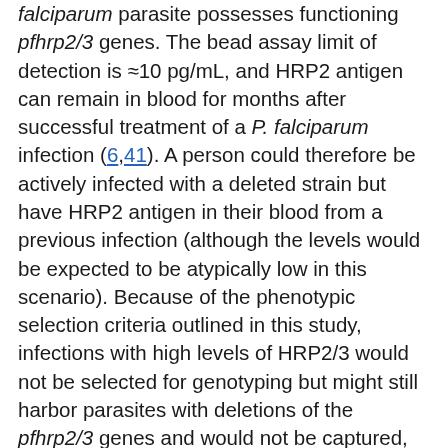falciparum parasite possesses functioning pfhrp2/3 genes. The bead assay limit of detection is ≈10 pg/mL, and HRP2 antigen can remain in blood for months after successful treatment of a P. falciparum infection (6,41). A person could therefore be actively infected with a deleted strain but have HRP2 antigen in their blood from a previous infection (although the levels would be expected to be atypically low in this scenario). Because of the phenotypic selection criteria outlined in this study, infections with high levels of HRP2/3 would not be selected for genotyping but might still harbor parasites with deletions of the pfhrp2/3 genes and would not be captured, although this possibility is likely low. If deleted parasites were more likely to induce asymptomatic or less symptomatic infections, this enrollment criteria in healthcare facilities would lead to underestimating actual deletion prevalence in a